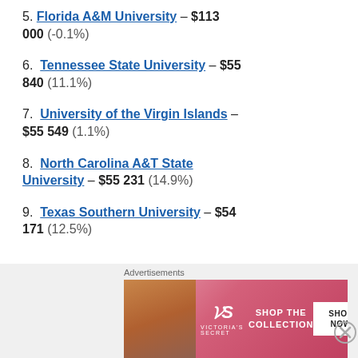5. Florida A&M University – $113 000 (-0.1%)
6. Tennessee State University – $55 840 (11.1%)
7. University of the Virgin Islands – $55 549 (1.1%)
8. North Carolina A&T State University – $55 231 (14.9%)
9. Texas Southern University – $54 171 (12.5%)
[Figure (illustration): Victoria's Secret advertisement banner with pink background, model photo, VS logo, 'SHOP THE COLLECTION' text, and 'SHOP NOW' button]